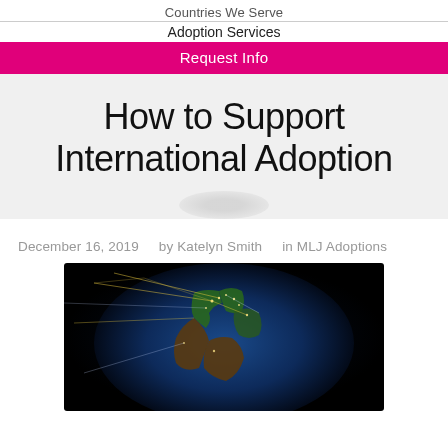Countries We Serve
Adoption Services
Request Info
How to Support International Adoption
December 16, 2019   by Katelyn Smith   in MLJ Adoptions
[Figure (photo): Nighttime satellite view of Earth showing Europe, Africa, and the Middle East with glowing city lights and network connection lines overlaid]